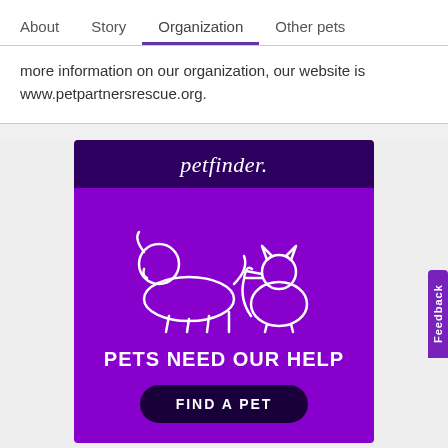About  Story  Organization  Other pets
more information on our organization, our website is www.petpartnersrescue.org.
[Figure (illustration): Petfinder advertisement with dark purple header showing 'petfinder.' logo in italic font, bright purple body with white line-art illustrations of a dog and cat, bold white text 'PETS NEED OUR HELP', and a dark button reading 'FIND A PET']